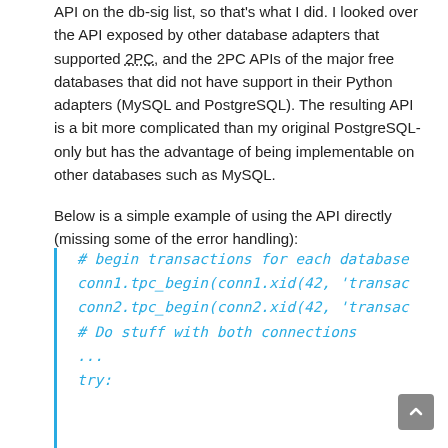API on the db-sig list, so that's what I did. I looked over the API exposed by other database adapters that supported 2PC, and the 2PC APIs of the major free databases that did not have support in their Python adapters (MySQL and PostgreSQL). The resulting API is a bit more complicated than my original PostgreSQL-only but has the advantage of being implementable on other databases such as MySQL.
Below is a simple example of using the API directly (missing some of the error handling):
[Figure (screenshot): Code block with blue left border showing Python code snippet: # begin transactions for each database, conn1.tpc_begin(conn1.xid(42, 'transac..., conn2.tpc_begin(conn2.xid(42, 'transac..., # Do stuff with both connections, ..., try:]